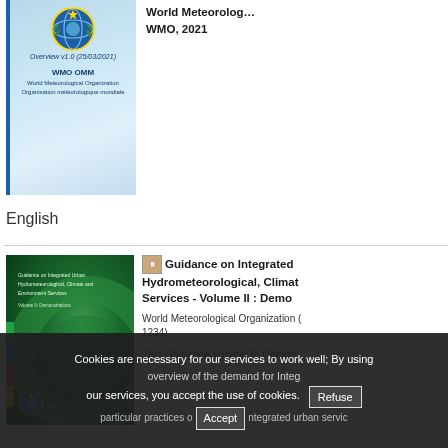[Figure (illustration): WMO document cover showing the WMO logo with star, globe, laurel wreath, and text WMO OMM, World Meteorological Organization, Organisation météorologique mondiale, with overlay text: Overview v1.0 (25/03/2021)]
World Meteorological Organization (WMO), 2021
English
[Figure (illustration): Green cover of Guidance on Integrated Urban Hydrometeorological, Climate and Environment Services Volume II book]
Guidance on Integrated Hydrometeorological, Climate Services - Volume II : Demo
World Meteorological Organization (WMO) 1234)
This Guidance Volume II: Demon overview of the demand for Integ particular practices of Integrated urban servic
Cookies are necessary for our services to work well; By using our services, you accept the use of cookies.